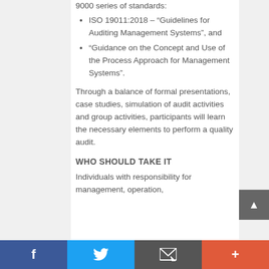9000 series of standards:
ISO 19011:2018 – “Guidelines for Auditing Management Systems”, and
“Guidance on the Concept and Use of the Process Approach for Management Systems”.
Through a balance of formal presentations, case studies, simulation of audit activities and group activities, participants will learn the necessary elements to perform a quality audit.
WHO SHOULD TAKE IT
Individuals with responsibility for management, operation,